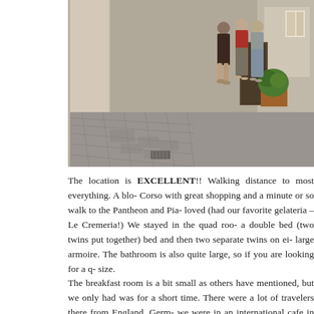[Figure (photo): Street-level photograph of a cobblestone alley in Rome, Italy. Three people are standing near a doorway with a large potted boxwood shrub. Buildings line both sides of the narrow street.]
The location is EXCELLENT!! Walking distance to most everything. A blo- Corso with great shopping and a minute or so walk to the Pantheon and Pia- loved (had our favorite gelateria – Le Cremeria!) We stayed in the quad roo- a double bed (two twins put together) bed and then two separate twins on ei- large armoire. The bathroom is also quite large, so if you are looking for a q- size. The breakfast room is a bit small as others have mentioned, but we only had was for a short time. There were a lot of travelers there from England, Germ- we were in an international cafe in the morning. Also, a lot of business...